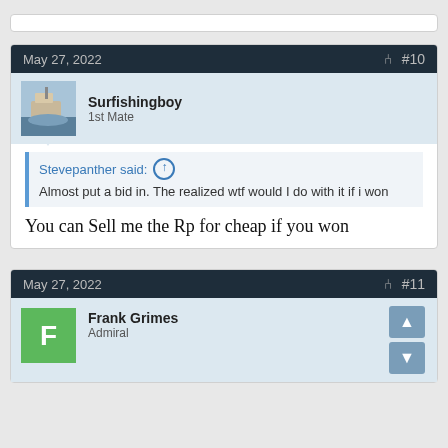May 27, 2022  #10
Surfishingboy
1st Mate
Stevepanther said: ↑
Almost put a bid in. The realized wtf would I do with it if i won
You can Sell me the Rp for cheap if you won
May 27, 2022  #11
Frank Grimes
Admiral